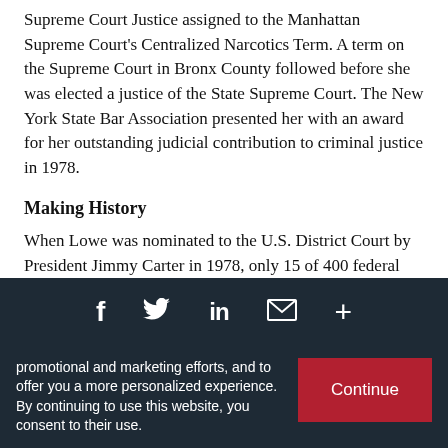Supreme Court Justice assigned to the Manhattan Supreme Court's Centralized Narcotics Term. A term on the Supreme Court in Bronx County followed before she was elected a justice of the State Supreme Court. The New York State Bar Association presented her with an award for her outstanding judicial contribution to criminal justice in 1978.
Making History
When Lowe was nominated to the U.S. District Court by President Jimmy Carter in 1978, only 15 of 400 federal
promotional and marketing efforts, and to offer you a more personalized experience. By continuing to use this website, you consent to their use.
Continue